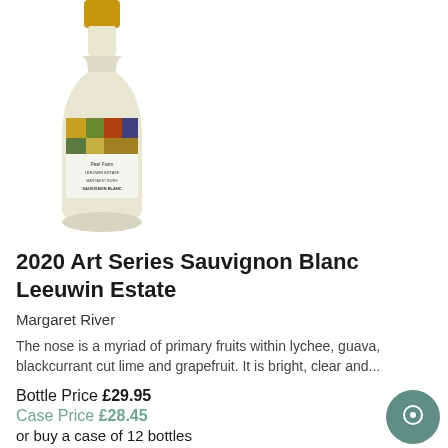[Figure (photo): A bottle of 2020 Art Series Sauvignon Blanc Leeuwin Estate wine with a gold cap and illustrated label on a white background]
2020 Art Series Sauvignon Blanc Leeuwin Estate
Margaret River
The nose is a myriad of primary fruits within lychee, guava, blackcurrant cut lime and grapefruit. It is bright, clear and...
Bottle Price £29.95
Case Price £28.45
or buy a case of 12 bottles